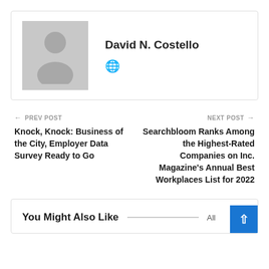[Figure (illustration): Author card with placeholder avatar (grey silhouette) and name David N. Costello with a globe icon]
David N. Costello
← PREV POST
Knock, Knock: Business of the City, Employer Data Survey Ready to Go
NEXT POST →
Searchbloom Ranks Among the Highest-Rated Companies on Inc. Magazine's Annual Best Workplaces List for 2022
You Might Also Like